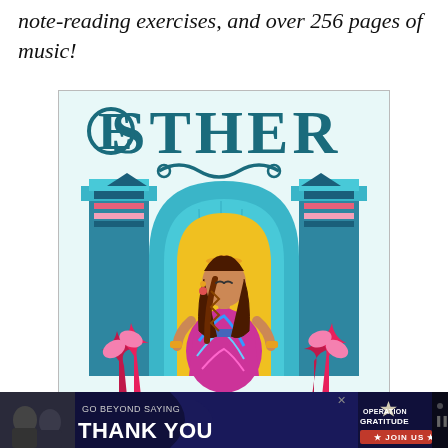note-reading exercises, and over 256 pages of music!
[Figure (illustration): Book cover for 'Esther' — stylized illustration showing a woman in colorful robes standing under an ornate arch with decorative columns, teal/turquoise color scheme with yellow arch, pink and blue accents, decorative plants at bottom]
[Figure (screenshot): Website advertisement banner: 'GO BEYOND SAYING THANK YOU' — Operation Gratitude JOIN US. Dark background with photo of people on left side.]